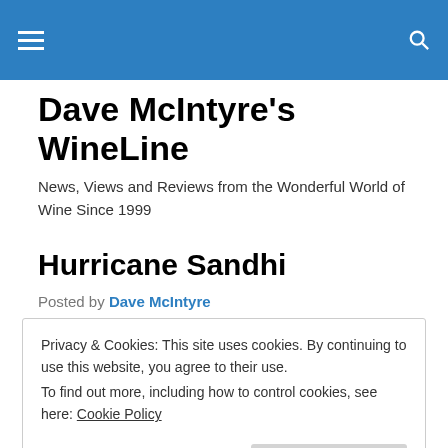Dave McIntyre's WineLine [navigation header bar]
Dave McIntyre's WineLine
News, Views and Reviews from the Wonderful World of Wine Since 1999
Hurricane Sandhi
Posted by Dave McIntyre
Privacy & Cookies: This site uses cookies. By continuing to use this website, you agree to their use.
To find out more, including how to control cookies, see here: Cookie Policy
Close and accept